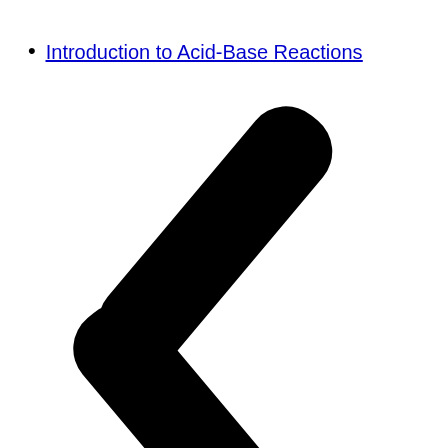Introduction to Acid-Base Reactions
[Figure (illustration): Large black chevron/arrow pointing right, partially cropped, occupying the lower two-thirds of the page. The chevron is rendered as two thick rounded rectangular bars meeting at a right-pointing angle.]